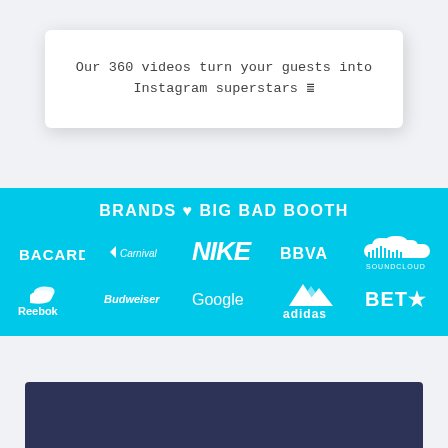Our 360 videos turn your guests into Instagram superstars ☰
[Figure (infographic): Cyan banner reading BRANDS ♥ BIG BAD BOOTH with logos: Bacardi, Carnival, Nike, BBVA, SoundCloud (top row), Reebok, Budweiser, Google, Adidas, BET (bottom row)]
[Figure (other): Dark navy blue section at bottom of page]